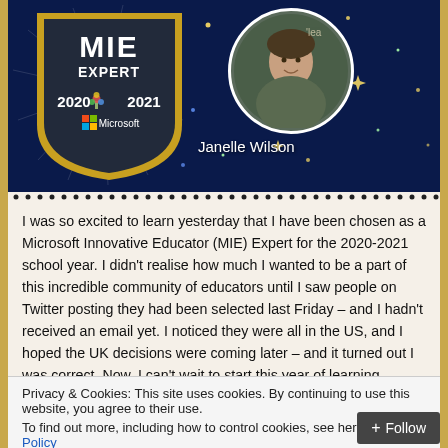[Figure (illustration): Dark blue background banner showing Microsoft Innovative Educator (MIE) Expert 2020-2021 badge/shield logo on the left, a circular profile photo of Janelle Wilson on the right, with decorative stars and sparkles scattered around.]
Janelle Wilson
I was so excited to learn yesterday that I have been chosen as a Microsoft Innovative Educator (MIE) Expert for the 2020-2021 school year. I didn’t realise how much I wanted to be a part of this incredible community of educators until I saw people on Twitter posting they had been selected last Friday – and I hadn’t received an email yet. I noticed they were all in the US, and I hoped the UK decisions were coming later – and it turned out I was correct. Now, I can’t wait to start this year of learning, innovating, and sharing.
Privacy & Cookies: This site uses cookies. By continuing to use this website, you agree to their use.
To find out more, including how to control cookies, see here: Cookie Policy
introduced at the start of the school year, and we were told